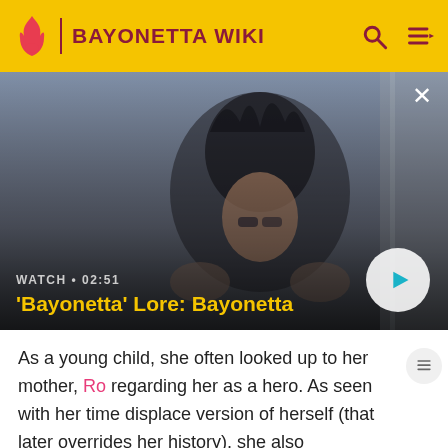BAYONETTA WIKI
[Figure (screenshot): Video thumbnail showing Bayonetta character — dark-haired woman with glasses in a game cinematic. Overlay shows watch time 02:51 and title 'Bayonetta' Lore: Bayonetta with a play button.]
As a young child, she often looked up to her mother, Ro regarding her as a hero. As seen with her time displace version of herself (that later overrides her history), she also maintained an attachment to her father, Balder. Initially described as a "cry baby" by her older